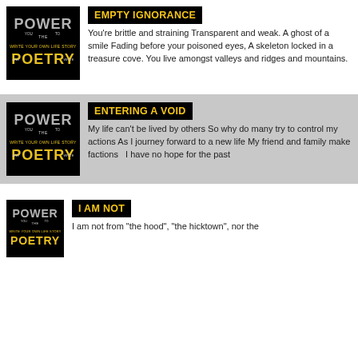[Figure (logo): Power Poetry logo - black background with stylized text POWER and POETRY in yellow/white]
EMPTY IGNORANCE
You're brittle and straining Transparent and weak. A ghost of a smile Fading before your poisoned eyes, A skeleton locked in a treasure cove. You live amongst valleys and ridges and mountains.
[Figure (logo): Power Poetry logo - black background with stylized text POWER and POETRY in yellow/white]
ENTERING A VOID
My life can't be lived by others So why do many try to control my actions As I journey forward to a new life My friend and family make factions   I have no hope for the past
[Figure (logo): Power Poetry logo - black background with stylized text POWER and POETRY in yellow/white]
I AM NOT
I am not from "the hood", "the hicktown", nor the